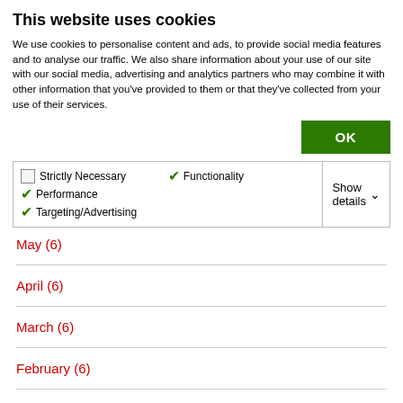This website uses cookies
We use cookies to personalise content and ads, to provide social media features and to analyse our traffic. We also share information about your use of our site with our social media, advertising and analytics partners who may combine it with other information that you've provided to them or that they've collected from your use of their services.
OK
Strictly Necessary  Functionality  Performance  Targeting/Advertising  Show details
May (6)
April (6)
March (6)
February (6)
January (5)